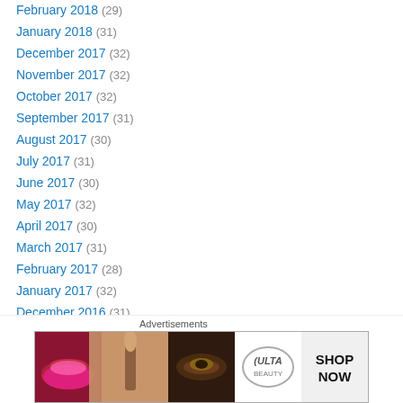February 2018 (29)
January 2018 (31)
December 2017 (32)
November 2017 (32)
October 2017 (32)
September 2017 (31)
August 2017 (30)
July 2017 (31)
June 2017 (30)
May 2017 (32)
April 2017 (30)
March 2017 (31)
February 2017 (28)
January 2017 (32)
December 2016 (31)
November 2016 (33)
[Figure (photo): ULTA beauty advertisement banner with makeup imagery (lips, brush, eye, logo, brows) and SHOP NOW text]